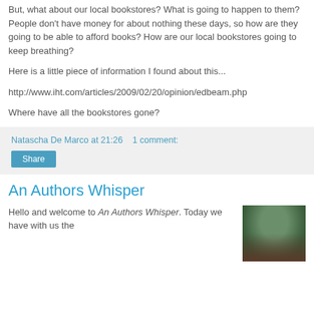But, what about our local bookstores? What is going to happen to them? People don't have money for about nothing these days, so how are they going to be able to afford books? How are our local bookstores going to keep breathing?
Here is a little piece of information I found about this...
http://www.iht.com/articles/2009/02/20/opinion/edbeam.php
Where have all the bookstores gone?
Natascha De Marco at 21:26    1 comment:
An Authors Whisper
Hello and welcome to An Authors Whisper. Today we have with us the